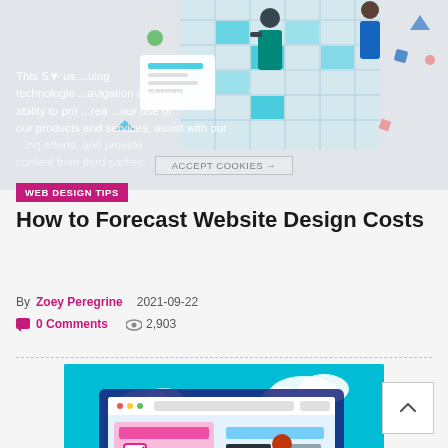[Figure (illustration): Isometric illustration of people working on a large digital grid/calendar board with UI elements, colorful geometric shapes in background, on light grey background]
This S▼ us... ...uing technologies... ...avigation and your ability to pro... ...rea... ...our use of our products and services, assist with our ...ing efforts, and provide content from third parties.
WEB DESIGN TIPS
ACCEPT COOKIES →
How to Forecast Website Design Costs
By Zoey Peregrine  2021-09-22
0 Comments  2,903
[Figure (illustration): Illustration of people working on a large website/browser interface with a computer monitor, showing web design elements including checkboxes, content blocks, gears at bottom, person on ladder, cyan/blue background with clouds]